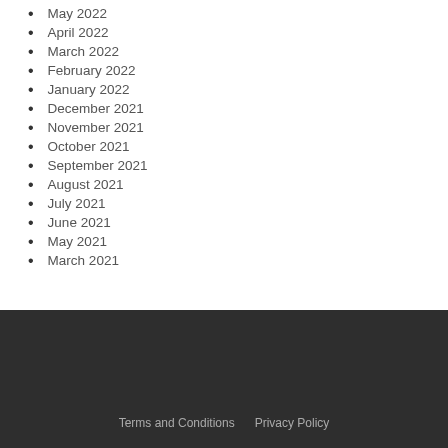May 2022
April 2022
March 2022
February 2022
January 2022
December 2021
November 2021
October 2021
September 2021
August 2021
July 2021
June 2021
May 2021
March 2021
Terms and Conditions    Privacy Policy